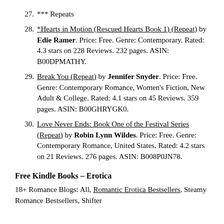27. *** Repeats
28. *Hearts in Motion (Rescued Hearts Book 1) (Repeat) by Edie Ramer. Price: Free. Genre: Contemporary. Rated: 4.3 stars on 228 Reviews. 232 pages. ASIN: B00DPMATHY.
29. Break You (Repeat) by Jennifer Snyder. Price: Free. Genre: Contemporary Romance, Women's Fiction, New Adult & College. Rated: 4.1 stars on 45 Reviews. 359 pages. ASIN: B00GHRYGK0.
30. Love Never Ends: Book One of the Festival Series (Repeat) by Robin Lynn Wildes. Price: Free. Genre: Contemporary Romance, United States. Rated: 4.2 stars on 21 Reviews. 276 pages. ASIN: B008P0JN78.
Free Kindle Books – Erotica
18+ Romance Blogs: All, Romantic Erotica Bestsellers, Steamy Romance Bestsellers, Shifter